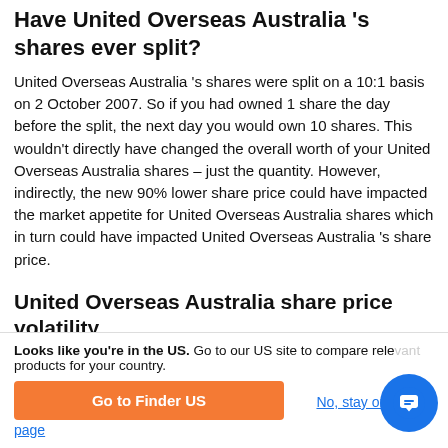Have United Overseas Australia 's shares ever split?
United Overseas Australia 's shares were split on a 10:1 basis on 2 October 2007. So if you had owned 1 share the day before the split, the next day you would own 10 shares. This wouldn't directly have changed the overall worth of your United Overseas Australia shares – just the quantity. However, indirectly, the new 90% lower share price could have impacted the market appetite for United Overseas Australia shares which in turn could have impacted United Overseas Australia 's share price.
United Overseas Australia share price volatility
Over the last 12 months, United Overseas Australia 's shares have ranged in value from a little over $0.52 to $0.7401. A
Looks like you're in the US. Go to our US site to compare relevant products for your country.
Go to Finder US
No, stay on this page